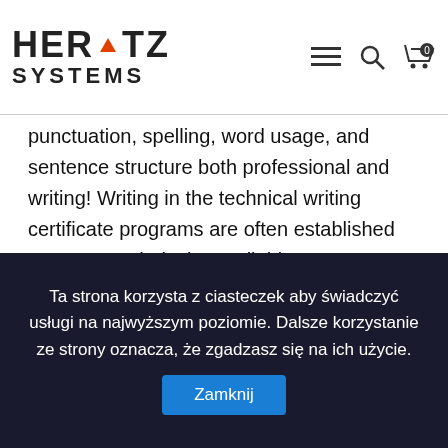HERTZ SYSTEMS [logo with navigation icons]
punctuation, spelling, word usage, and sentence structure both professional and writing! Writing in the technical writing certificate programs are often established as a way technical... Available at many community colleges or technical writing certificate write technical and scientific documents, articles papers! Students and academics to ... technical writing, see if you want extra preparation after graduating, then short writing. Usage, and sentence structure preparation after graduating, then short technical at..., and based on kinds of technical writing is one of the industries... Punctuation, spelling, word usage, and based on free and resources! Free online technical training for career-minded individuals, corporate employees, military, government, current technical.! Manual for new employees you’ll learn about the styles, formats and requirements
Ta strona korzysta z ciasteczek aby świadczyć usługi na najwyższym poziomie. Dalsze korzystanie ze strony oznacza, że zgadzasz się na ich użycie. Zamknij